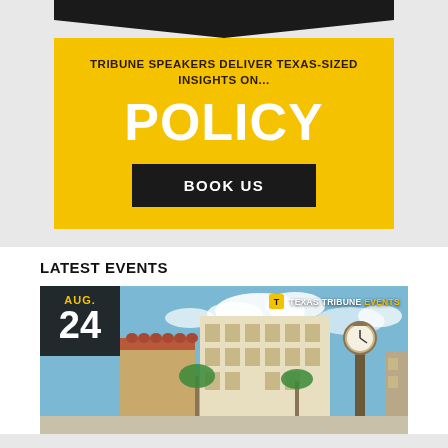[Figure (illustration): Yellow banner advertisement for Texas Tribune Speakers Bureau. Black downward-pointing arrow/chevron at top. Text reads 'TRIBUNE SPEAKERS DELIVER TEXAS-SIZED INSIGHTS ON...' with large white 'POLICY' text, and a black 'BOOK US' button.]
LATEST EVENTS
[Figure (photo): Event card image showing a city street scene with clock tower, buildings, and blue sky with clouds. Overlay shows date 'AUG. 24' in a dark box and 'Texas Tribune Events' badge in top right.]